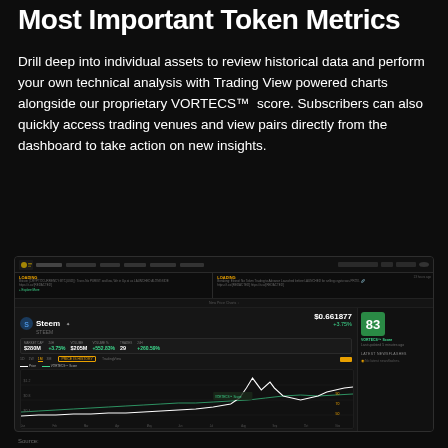Most Important Token Metrics
Drill deep into individual assets to review historical data and perform your own technical analysis with Trading View powered charts alongside our proprietary VORTECS™  score. Subscribers can also quickly access trading venues and view pairs directly from the dashboard to take action on new insights.
[Figure (screenshot): Screenshot of a cryptocurrency analytics dashboard showing the Steem (STEEM) token page. Includes price of $0.661877 with +3.75% change, market cap of $280M, volume of $205M, trades of 29, a VORTECS score of 83 shown in a green box, and a line chart displaying price history and VORTECS score over time. The right panel shows 'Latest Newsflashes' with no content displayed.]
Source: